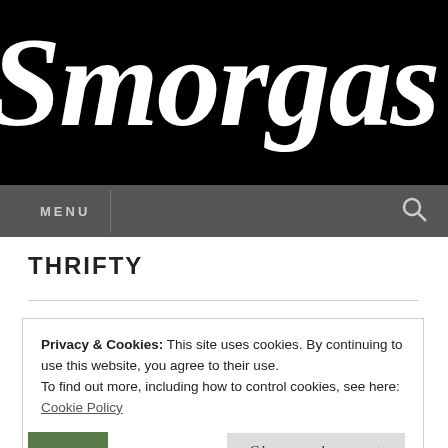Smorgas
MENU
THRIFTY
Privacy & Cookies: This site uses cookies. By continuing to use this website, you agree to their use.
To find out more, including how to control cookies, see here: Cookie Policy
Close and accept